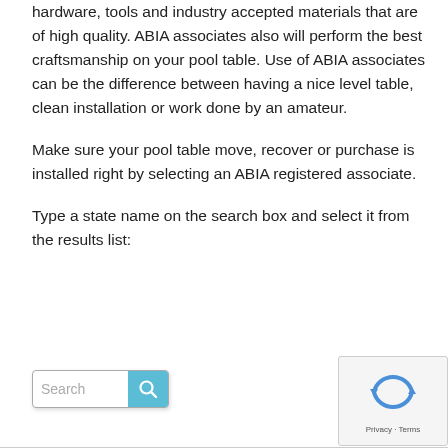hardware, tools and industry accepted materials that are of high quality. ABIA associates also will perform the best craftsmanship on your pool table. Use of ABIA associates can be the difference between having a nice level table,  clean installation or work done by an amateur.
Make sure your pool table move, recover or purchase is installed right by selecting an ABIA registered associate.
Type a state name on the search box and select it from the results list:
[Figure (screenshot): A search input box with placeholder text 'Search' and a teal/blue search icon button on the right. Beside it on the far right is a reCAPTCHA widget showing the spinning arrows logo and 'Privacy · Terms' text at the bottom.]